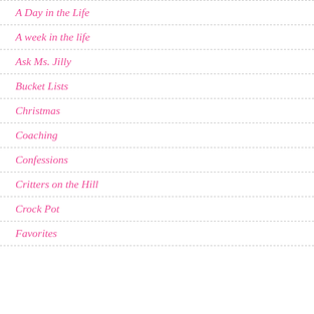A Day in the Life
A week in the life
Ask Ms. Jilly
Bucket Lists
Christmas
Coaching
Confessions
Critters on the Hill
Crock Pot
Favorites